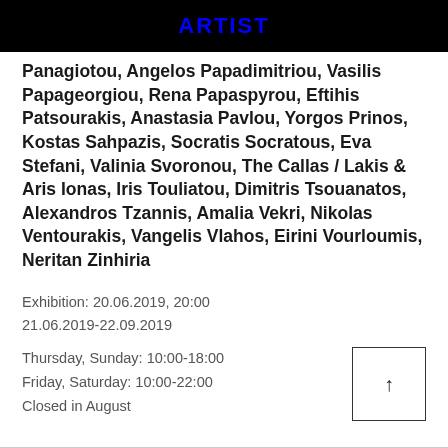ARTIST
Panagiotou, Angelos Papadimitriou, Vasilis Papageorgiou, Rena Papaspyrou, Eftihis Patsourakis, Anastasia Pavlou, Yorgos Prinos, Kostas Sahpazis, Socratis Socratous, Eva Stefani, Valinia Svoronou, The Callas / Lakis & Aris Ionas, Iris Touliatou, Dimitris Tsouanatos, Alexandros Tzannis, Amalia Vekri, Nikolas Ventourakis, Vangelis Vlahos, Eirini Vourloumis, Neritan Zinhiria
Exhibition: 20.06.2019, 20:00
21.06.2019-22.09.2019
Thursday, Sunday: 10:00-18:00
Friday, Saturday: 10:00-22:00
Closed in August